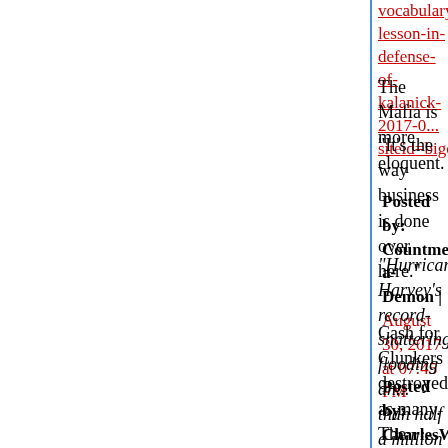vocabulary-lesson-in-defense-of-kalanick-2017-0...siteid=bigcharts&dist=bigcharts
The Mafia is more eloquent.
"It's the way business is done over here."
Posted by: Countme-a-Demon | August 30, 2017 at 07:45 PM
"Hurricane Harvey's record-shattering flooding an... than half a million vehicles."
Cash for Clunkers destroyed as many. The hurric...
Posted by: CharlesWT | August 30, 2017 at 07:51 PM
Truth seekers. Leaders of men. Orgasmic fakers... Deracinaters of facts. Those who put the alt in alt...
https://digbysblog.blogspot.com/2017/08/bizarro...
Tell me the alternative to saving the country by fi... wicks.
Posted by: Countme-a-Demon | August 30, 2017 at 08:22 PM